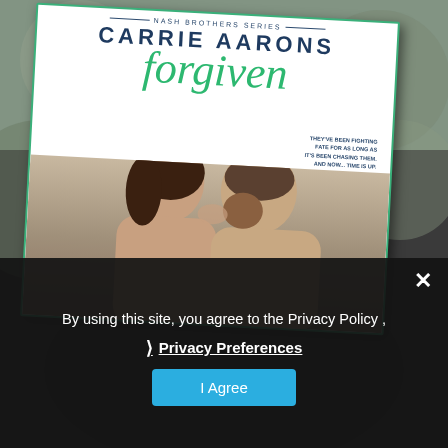[Figure (photo): A person holding a book titled 'Forgiven' by Carrie Aarons, Nash Brothers Series. The book cover shows a couple with foreheads touching. Background is blurred outdoor scene.]
By using this site, you agree to the Privacy Policy ,
❯ Privacy Preferences
I Agree